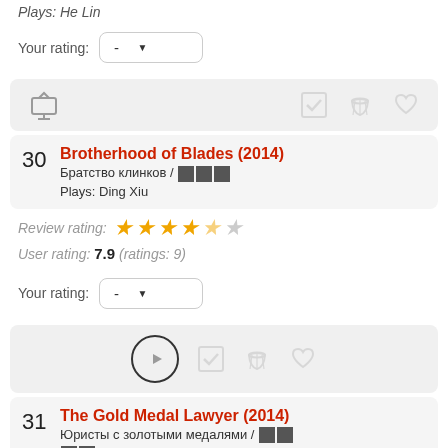Plays: He Lin
Your rating: -
[Figure (infographic): TV icon on left, checkmark, popcorn bucket and heart icons on right]
Brotherhood of Blades (2014)
30  Братство клинков / XXX
Plays: Ding Xiu
Review rating: 4.5 stars
User rating: 7.9 (ratings: 9)
Your rating: -
[Figure (infographic): Play button circle, checkmark, popcorn bucket and heart icons]
The Gold Medal Lawyer (2014)
31  Юристы с золотыми медалями / XX XX